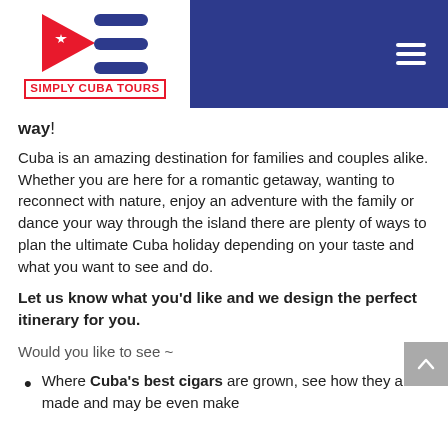Simply Cuba Tours
way!
Cuba is an amazing destination for families and couples alike. Whether you are here for a romantic getaway, wanting to reconnect with nature, enjoy an adventure with the family or dance your way through the island there are plenty of ways to plan the ultimate Cuba holiday depending on your taste and what you want to see and do.
Let us know what you'd like and we design the perfect itinerary for you.
Would you like to see ~
Where Cuba's best cigars are grown, see how they are made and may be even make your own?